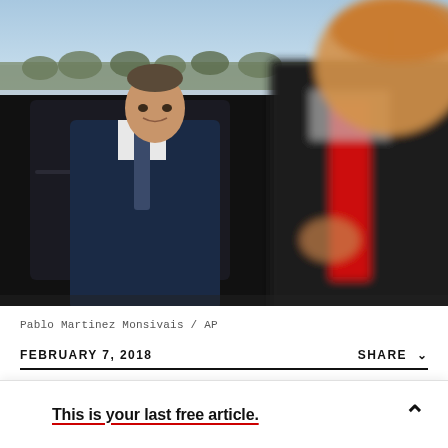[Figure (photo): Two men outdoors near a black SUV. On the left, a man in a dark navy blue suit with a polka-dot tie looks toward the camera. On the right foreground, blurred, is a man in a dark suit with a red tie, gesturing with his hand. Trees and a pale winter sky are visible in the background.]
Pablo Martinez Monsivais / AP
FEBRUARY 7, 2018
SHARE
This is your last free article.